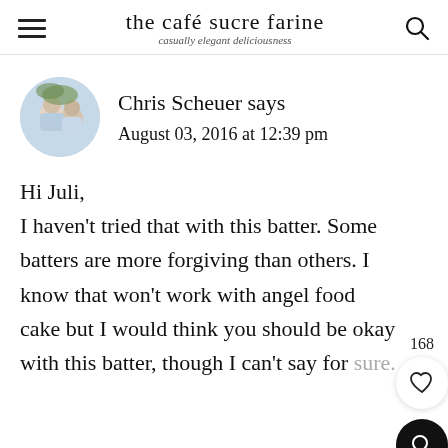the café sucre farine — casually elegant deliciousness
Chris Scheuer says
August 03, 2016 at 12:39 pm
Hi Juli,
I haven't tried that with this batter. Some batters are more forgiving than others. I know that won't work with angel food cake but I would think you should be okay with this batter, though I can't say for sure.